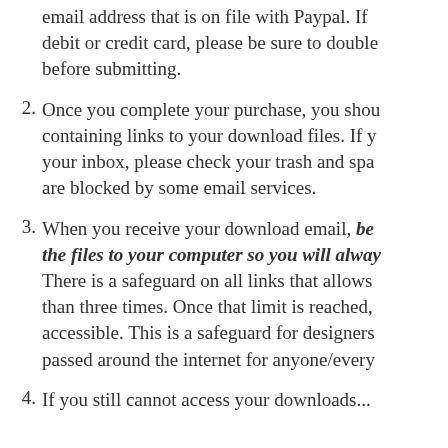email address that is on file with Paypal. If debit or credit card, please be sure to double before submitting.
Once you complete your purchase, you should receive an email containing links to your download files. If you don't see it in your inbox, please check your trash and spam folders as emails are blocked by some email services.
When you receive your download email, be sure to save the files to your computer so you will always have access to them. There is a safeguard on all links that allows them to be used no more than three times. Once that limit is reached, the links are no longer accessible. This is a safeguard for designers so their files aren't passed around the internet for anyone/everyone to use.
If you still cannot access your downloads...